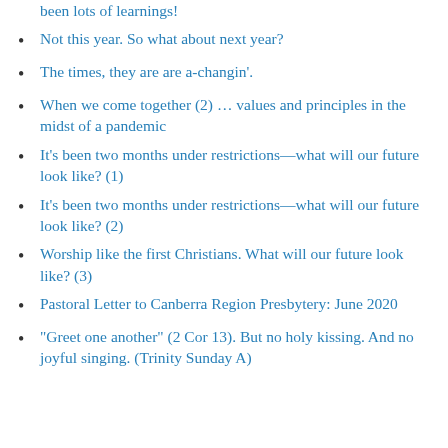been lots of learnings!
Not this year. So what about next year?
The times, they are are a-changin'.
When we come together (2) … values and principles in the midst of a pandemic
It's been two months under restrictions—what will our future look like? (1)
It's been two months under restrictions—what will our future look like? (2)
Worship like the first Christians. What will our future look like? (3)
Pastoral Letter to Canberra Region Presbytery: June 2020
“Greet one another” (2 Cor 13). But no holy kissing. And no joyful singing. (Trinity Sunday A)